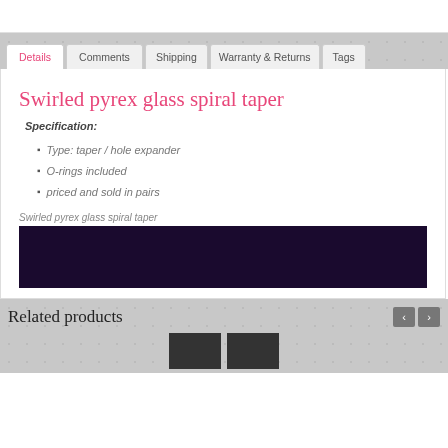Details | Comments | Shipping | Warranty & Returns | Tags
Swirled pyrex glass spiral taper
Specification:
Type: taper / hole expander
O-rings included
priced and sold in pairs
Swirled pyrex glass spiral taper
[Figure (photo): Dark navy/purple product image placeholder for swirled pyrex glass spiral taper]
Related products